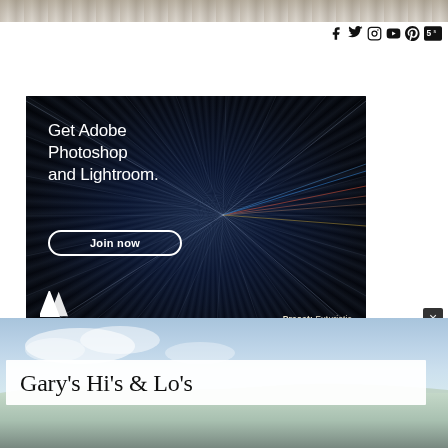[Figure (photo): Top banner: architectural photo strip, classical building columns]
[Figure (infographic): Social media icons: Facebook, Twitter, Instagram, YouTube, Pinterest, and a numbered icon]
[Figure (photo): Adobe advertisement: dark tunnel with speed light trails, text 'Get Adobe Photoshop and Lightroom.' with 'Join now' button, Adobe logo, and 'Preset: Futuristic' label]
[Figure (photo): Bottom landscape photo showing blue sky with light clouds and green-gray terrain]
Gary's Hi's & Lo's